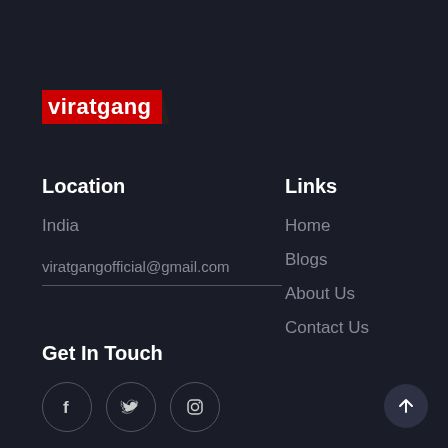[Figure (logo): viratgang logo: white bold text on red background with dark corner notch]
Location
India
viratgangofficial@gmail.com
Links
Home
Blogs
About Us
Contact Us
Get In Touch
[Figure (illustration): Social media icons: Facebook, Twitter, Instagram in circular bordered buttons]
[Figure (illustration): Scroll-to-top arrow button in bottom right corner]